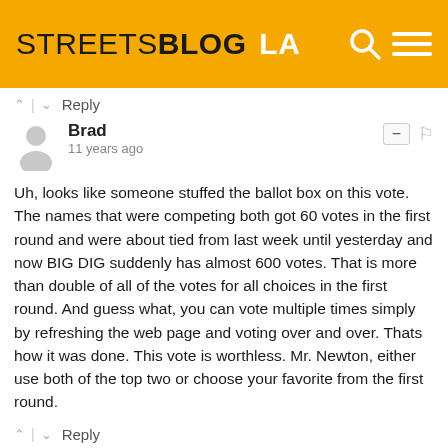STREETSBLOG LA
Reply
Brad
11 years ago
Uh, looks like someone stuffed the ballot box on this vote. The names that were competing both got 60 votes in the first round and were about tied from last week until yesterday and now BIG DIG suddenly has almost 600 votes. That is more than double of all of the votes for all choices in the first round. And guess what, you can vote multiple times simply by refreshing the web page and voting over and over. Thats how it was done. This vote is worthless. Mr. Newton, either use both of the top two or choose your favorite from the first round.
Reply
Joanne Nuckols
11 years ago
Elaine, the main reference to the Big Dig in Boston was the cost which originally was estimated to be $2-3 Billion and